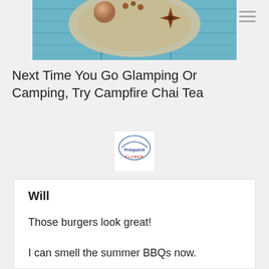[Figure (photo): Partial view of a food photo showing a bowl or plate with spices including star anise, on a blue wooden surface background. Only the bottom portion of the image is visible.]
Next Time You Go Glamping Or Camping, Try Campfire Chai Tea
[Figure (logo): FrequentFlamer logo - a circular emblem with text 'Frequent FLAMER']
Will
Those burgers look great!
I can smell the summer BBQs now.